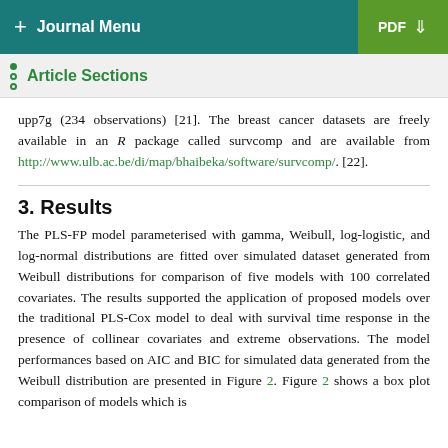+ Journal Menu | PDF ↓
Article Sections
upp7g (234 observations) [21]. The breast cancer datasets are freely available in an R package called survcomp and are available from http://www.ulb.ac.be/di/map/bhaibeka/software/survcomp/. [22].
3. Results
The PLS-FP model parameterised with gamma, Weibull, log-logistic, and log-normal distributions are fitted over simulated dataset generated from Weibull distributions for comparison of five models with 100 correlated covariates. The results supported the application of proposed models over the traditional PLS-Cox model to deal with survival time response in the presence of collinear covariates and extreme observations. The model performances based on AIC and BIC for simulated data generated from the Weibull distribution are presented in Figure 2. Figure 2 shows a box plot comparison of models which is